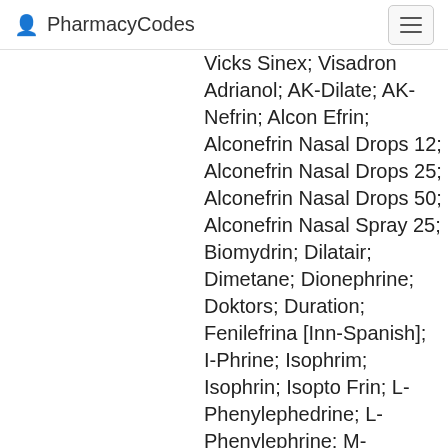PharmacyCodes
Vicks Sinex; Visadron Adrianol; AK-Dilate; AK-Nefrin; Alcon Efrin; Alconefrin Nasal Drops 12; Alconefrin Nasal Drops 25; Alconefrin Nasal Drops 50; Alconefrin Nasal Spray 25; Biomydrin; Dilatair; Dimetane; Dionephrine; Doktors; Duration; Fenilefrina [Inn-Spanish]; I-Phrine; Isophrim; Isophrin; Isopto Frin; L-Phenylephedrine; L-Phenylephrine; M-Methylaminoethanolphenol; M-Oxedrine; M-Sympathol; Phenylephrine; M-Synephrine; Mesaton; Mesatone; Mesatonum;